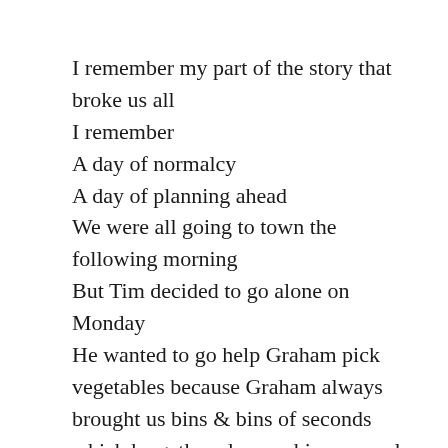I remember my part of the story that broke us all
I remember
A day of normalcy
A day of planning ahead
We were all going to town the following morning
But Tim decided to go alone on Monday
He wanted to go help Graham pick vegetables because Graham always brought us bins & bins of seconds which he gathered up on his own and brought down for us to process to help feed our large extended family
He wanted to do his bit towards this incredibly generosity